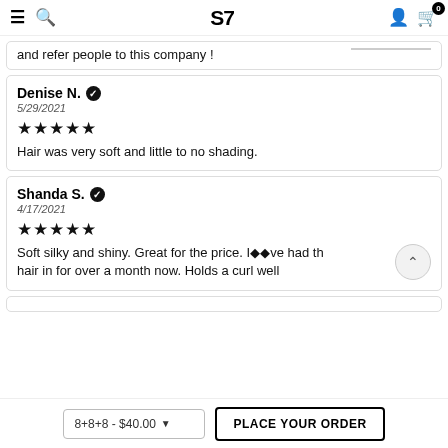SP — navigation header with hamburger, search, logo, user, cart (0)
and refer people to this company !
Denise N. ✓
5/29/2021
★★★★★
Hair was very soft and little to no shading.
Shanda S. ✓
4/17/2021
★★★★★
Soft silky and shiny. Great for the price. I🔷🔷ve had the hair in for over a month now. Holds a curl well
8+8+8 - $40.00   PLACE YOUR ORDER